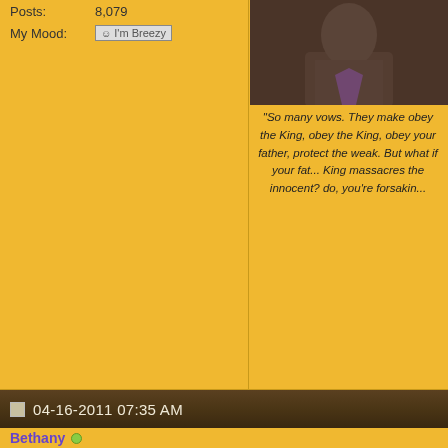Posts: 8,079
My Mood: I'm Breezy
[Figure (photo): Dark-toned photo of a person (likely Jaime Lannister character from Game of Thrones) in upper right area]
"So many vows. They make obey the King, obey the King, obey your father, protect the weak. But what if your father... King massacres the innocent? do, you're forsakin..."
04-16-2011 07:35 AM
Bethany
Architect
[Figure (photo): Photo of an older man with white hair wearing glasses and a bow tie, smiling outdoors]
Join Date: Apr 2007
Posts: 7,117
If I tell you guys I have an oven... lemon cake for tomorrow night,
Also, two old timers (Marty and ...) got to see the first two episodes session with Sean Bean. I admi... here is the link to the podcast. h... thrones
People love frozen yo...